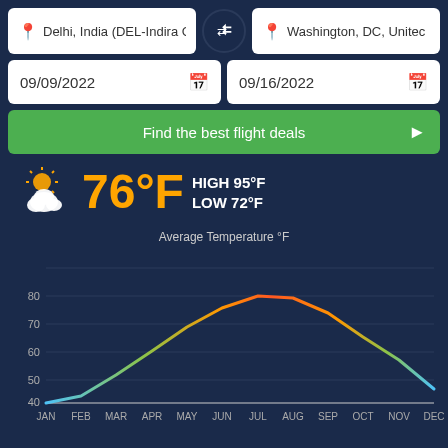Delhi, India (DEL-Indira G...
Washington, DC, United...
09/09/2022
09/16/2022
Find the best flight deals
76°F HIGH 95°F LOW 72°F
[Figure (line-chart): Average Temperature °F]